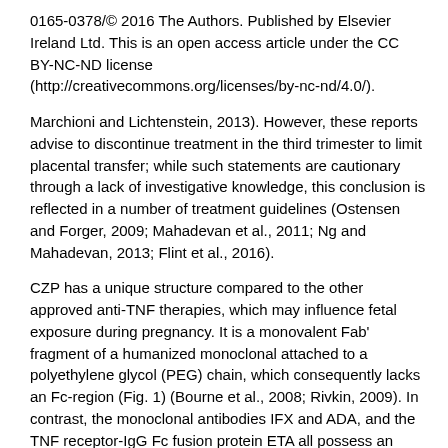0165-0378/© 2016 The Authors. Published by Elsevier Ireland Ltd. This is an open access article under the CC BY-NC-ND license (http://creativecommons.org/licenses/by-nc-nd/4.0/).
Marchioni and Lichtenstein, 2013). However, these reports advise to discontinue treatment in the third trimester to limit placental transfer; while such statements are cautionary through a lack of investigative knowledge, this conclusion is reflected in a number of treatment guidelines (Ostensen and Forger, 2009; Mahadevan et al., 2011; Ng and Mahadevan, 2013; Flint et al., 2016).
CZP has a unique structure compared to the other approved anti-TNF therapies, which may influence fetal exposure during pregnancy. It is a monovalent Fab' fragment of a humanized monoclonal attached to a polyethylene glycol (PEG) chain, which consequently lacks an Fc-region (Fig. 1) (Bourne et al., 2008; Rivkin, 2009). In contrast, the monoclonal antibodies IFX and ADA, and the TNF receptor-IgG Fc fusion protein ETA all possess an IgG1 Fc-region (Fig. 1). Binding of the IgG